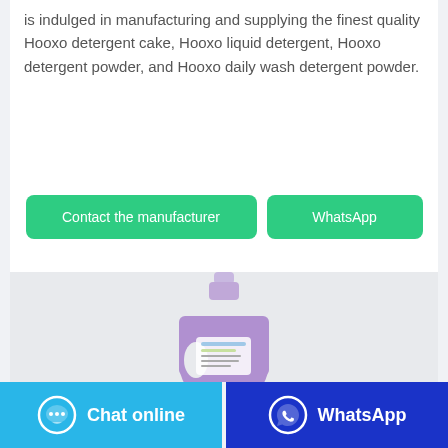is indulged in manufacturing and supplying the finest quality Hooxo detergent cake, Hooxo liquid detergent, Hooxo detergent powder, and Hooxo daily wash detergent powder.
[Figure (other): Two call-to-action buttons: 'Contact the manufacturer' (green) and 'WhatsApp' (green)]
[Figure (photo): A purple liquid detergent bottle with a label, shown against a light gray background]
[Figure (other): Footer bar with two buttons: 'Chat online' (light blue with chat icon) and 'WhatsApp' (dark blue with WhatsApp icon)]